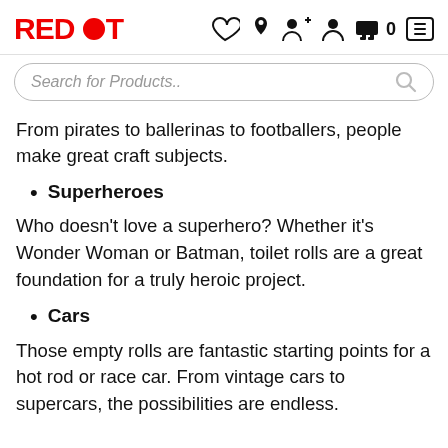RED DOT [navigation icons]
Search for Products..
From pirates to ballerinas to footballers, people make great craft subjects.
Superheroes
Who doesn't love a superhero? Whether it's Wonder Woman or Batman, toilet rolls are a great foundation for a truly heroic project.
Cars
Those empty rolls are fantastic starting points for a hot rod or race car. From vintage cars to supercars, the possibilities are endless.